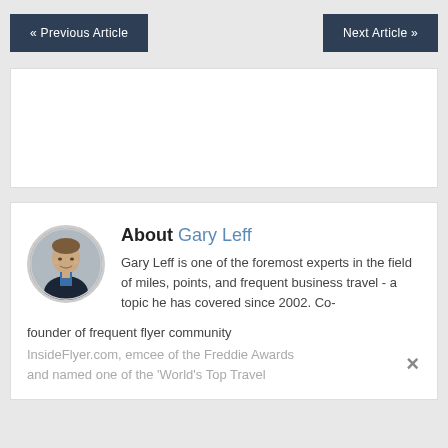« Previous Article    Next Article »
[Figure (other): Advertisement placeholder box (white rectangle)]
[Figure (photo): Circular headshot photo of Gary Leff, a man in a dark suit and blue shirt]
About Gary Leff
Gary Leff is one of the foremost experts in the field of miles, points, and frequent business travel - a topic he has covered since 2002. Co-founder of frequent flyer community InsideFlyer.com, emcee of the Freddie Awards and named one of the 'World's Top Travel...
×